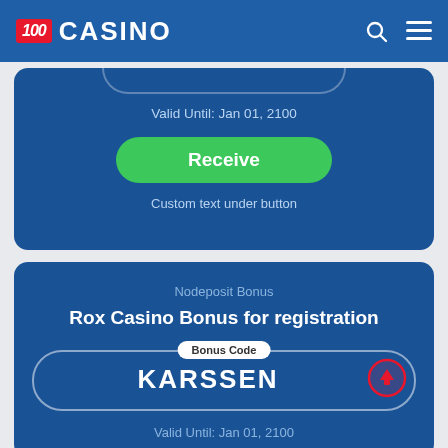[Figure (screenshot): 100 Casino website header with red logo box showing '100', white 'CASINO' text, search and hamburger menu icons on dark blue background]
Valid Until: Jan 01, 2100
Receive
Custom text under button
Nodeposit Bonus
Rox Casino Bonus for registration
Bonus Code
KARSSEN
Valid Until: Jan 01, 2100